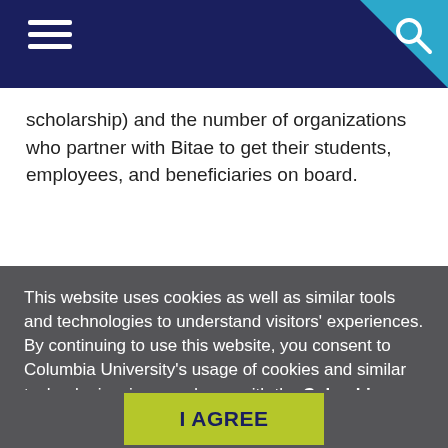Navigation header with hamburger menu and search icon
scholarship) and the number of organizations who partner with Bitae to get their students, employees, and beneficiaries on board.
This website uses cookies as well as similar tools and technologies to understand visitors' experiences. By continuing to use this website, you consent to Columbia University's usage of cookies and similar technologies, in accordance with the Columbia University Website Cookie Notice.
I AGREE